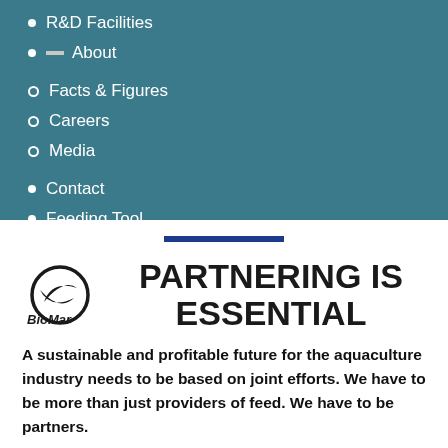R&D Facilities
About
Facts & Figures
Careers
Media
Contact
Feeding Tool
Blog
[Figure (screenshot): Navigation menu items with input/search box elements on teal background]
PARTNERING IS ESSENTIAL
A sustainable and profitable future for the aquaculture industry needs to be based on joint efforts. We have to be more than just providers of feed. We have to be partners.